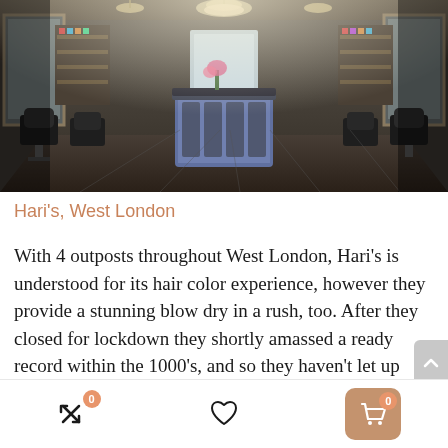[Figure (photo): Interior of Hari's hair salon in West London showing styling chairs on both sides, mirrors, shelves with hair products, and a central island counter with pendant lighting.]
Hari's, West London
With 4 outposts throughout West London, Hari's is understood for its hair color experience, however they provide a stunning blow dry in a rush, too. After they closed for lockdown they shortly amassed a ready record within the 1000's, and so they haven't let up since reopening, with many locals returning for